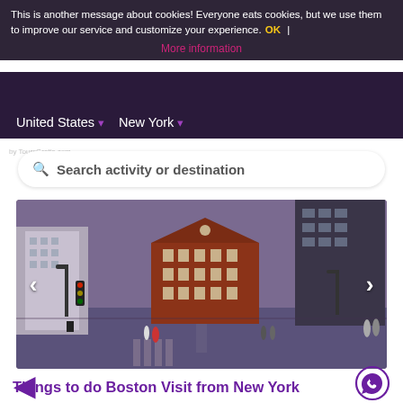This is another message about cookies! Everyone eats cookies, but we use them to improve our service and customize your experience. OK | More information
United States ▾  New York ▾
🔍 Search activity or destination
[Figure (photo): Street view of a historic red brick building (Old State House) in Boston, surrounded by modern skyscrapers, with a wide empty intersection in the foreground.]
Things to do Boston Visit from New York